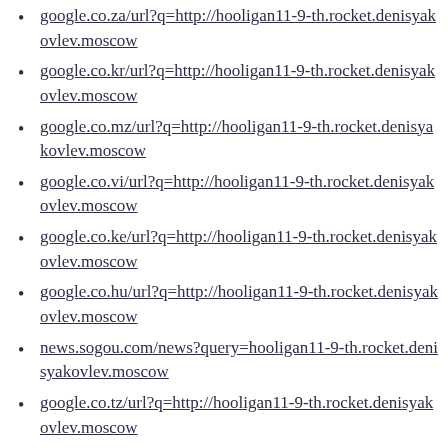google.co.za/url?q=http://hooligan11-9-th.rocket.denisyakovlev.moscow
google.co.kr/url?q=http://hooligan11-9-th.rocket.denisyakovlev.moscow
google.co.mz/url?q=http://hooligan11-9-th.rocket.denisyakovlev.moscow
google.co.vi/url?q=http://hooligan11-9-th.rocket.denisyakovlev.moscow
google.co.ke/url?q=http://hooligan11-9-th.rocket.denisyakovlev.moscow
google.co.hu/url?q=http://hooligan11-9-th.rocket.denisyakovlev.moscow
news.sogou.com/news?query=hooligan11-9-th.rocket.denisyakovlev.moscow
google.co.tz/url?q=http://hooligan11-9-th.rocket.denisyakovlev.moscow
gadgets.gearlive.com/?URL=hooligan11-9-th.rocket.denisyakovlev.moscow
www.searchdaimon.com/?URL=hooligan11-9-